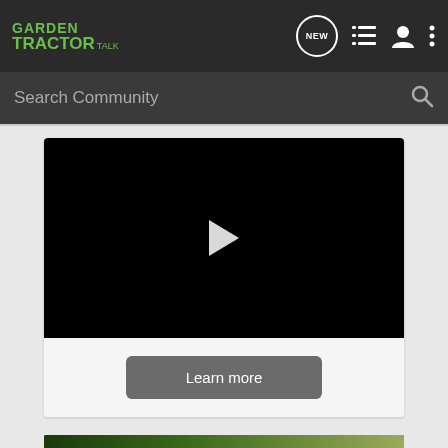[Figure (screenshot): Garden Tractor Talk website navigation bar with logo, NEW bubble icon, list icon, user icon, and dots menu icon]
[Figure (screenshot): Search Community input bar with search icon]
[Figure (screenshot): Video player (black screen with white play button triangle) with Learn more button below]
[Figure (screenshot): GroundOS advertisement banner: 'BUILT BY LAND BROKERS FOR LAND BROKERS' and 'CLICK TO LEARN MORE' in orange]
[Figure (screenshot): Thumbnail image and partial text at bottom of page]